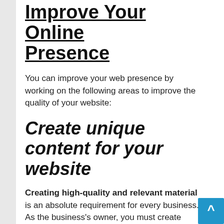Improve Your Online Presence
You can improve your web presence by working on the following areas to improve the quality of your website:
Create unique content for your website
Creating high-quality and relevant material is an absolute requirement for every business. As the business's owner, you must create content that helps your customers